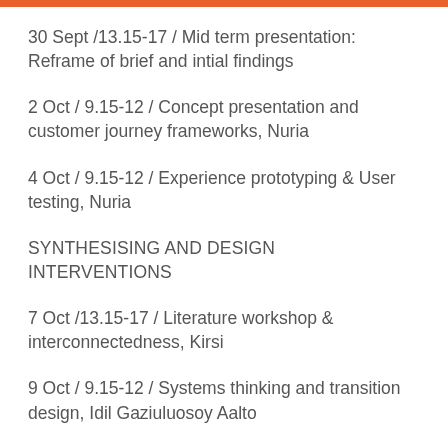30 Sept /13.15-17 / Mid term presentation: Reframe of brief and intial findings
2 Oct / 9.15-12 /  Concept presentation and customer journey frameworks, Nuria
4 Oct / 9.15-12 /  Experience prototyping & User testing, Nuria
SYNTHESISING AND DESIGN INTERVENTIONS
7 Oct /13.15-17 / Literature workshop  & interconnectedness, Kirsi
9 Oct / 9.15-12 / Systems thinking and transition design, Idil Gaziuluosoy Aalto
11 Oct / 9.15-12 / Business perspective to service